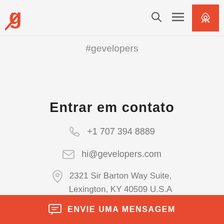#gevelopers
Entrar em contato
+1 707 394 8889
hi@gevelopers.com
2321 Sir Barton Way Suite, Lexington, KY 40509 U.S.A
ENVIE UMA MENSAGEM